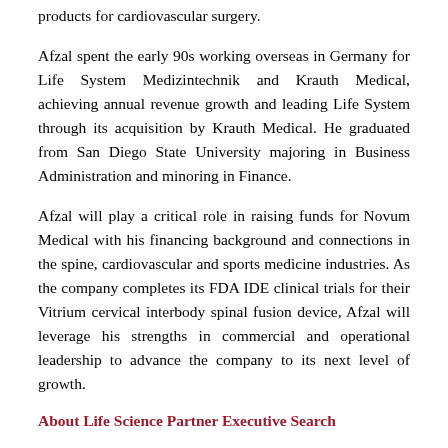products for cardiovascular surgery.
Afzal spent the early 90s working overseas in Germany for Life System Medizintechnik and Krauth Medical, achieving annual revenue growth and leading Life System through its acquisition by Krauth Medical. He graduated from San Diego State University majoring in Business Administration and minoring in Finance.
Afzal will play a critical role in raising funds for Novum Medical with his financing background and connections in the spine, cardiovascular and sports medicine industries. As the company completes its FDA IDE clinical trials for their Vitrium cervical interbody spinal fusion device, Afzal will leverage his strengths in commercial and operational leadership to advance the company to its next level of growth.
About Life Science Partner Executive Search